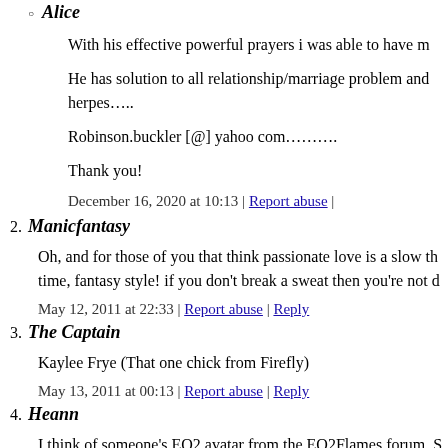Alice
With his effective powerful prayers i was able to have m
He has solution to all relationship/marriage problem and herpes…...
Robinson.buckler [@] yahoo com..........
Thank you!
December 16, 2020 at 10:13 | Report abuse |
2. Manicfantasy
Oh, and for those of you that think passionate love is a slow th time, fantasy style! if you don't break a sweat then you're not d
May 12, 2011 at 22:33 | Report abuse | Reply
3. The Captain
Kaylee Frye (That one chick from Firefly)
May 13, 2011 at 00:13 | Report abuse | Reply
4. Heann
I think of someone's EO2 avatar from the EO2Flames forum. S